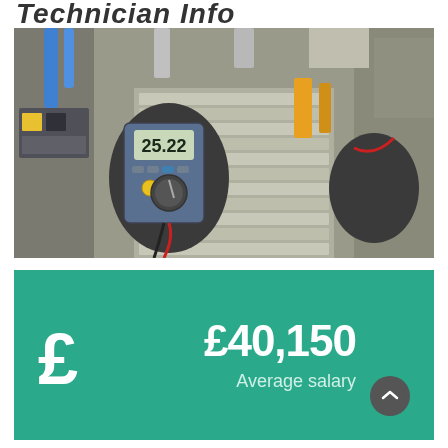Technician Info
[Figure (photo): A technician wearing black gloves using a digital multimeter (displaying 25.22) while working on an electrical control panel with wiring and circuit components.]
£40,150 Average salary